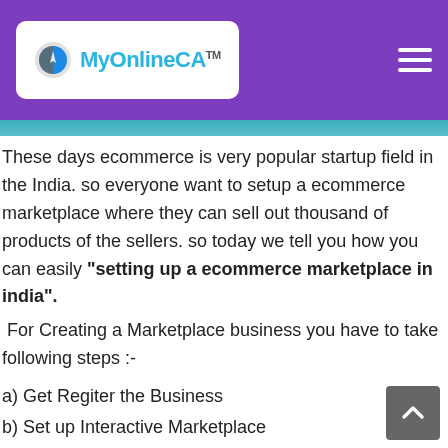MyOnlineCA™
These days ecommerce is very popular startup field in the India. so everyone want to setup a ecommerce marketplace where they can sell out thousand of products of the sellers. so today we tell you how you can easily "setting up a ecommerce marketplace in india".
For Creating a Marketplace business you have to take following steps :-
a) Get Regiter the Business
b) Set up Interactive Marketplace
c) Drafting Website Legal Terms
d) Drafting Vendor Agreements
e) Set up Logistic Services and Payment Gat...